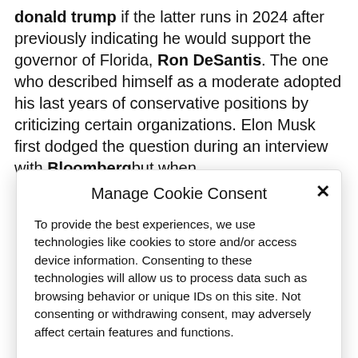donald trump if the latter runs in 2024 after previously indicating he would support the governor of Florida, Ron DeSantis. The one who described himself as a moderate adopted his last years of conservative positions by criticizing certain organizations. Elon Musk first dodged the question during an interview with Bloombergbut when
Manage Cookie Consent
To provide the best experiences, we use technologies like cookies to store and/or access device information. Consenting to these technologies will allow us to process data such as browsing behavior or unique IDs on this site. Not consenting or withdrawing consent, may adversely affect certain features and functions.
Accept
Cookie Policy